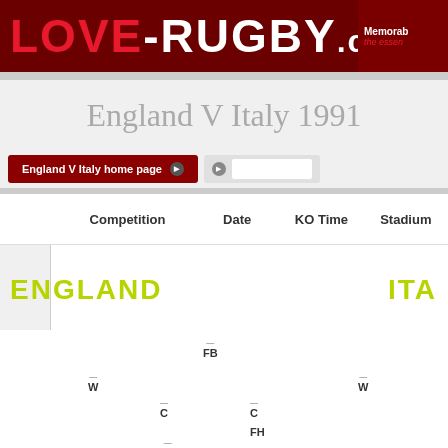LOVE-RUGBY.com | Memorab the essen
England V Italy 1991
England V Italy home page
| Competition | Date | KO Time | Stadium |
| --- | --- | --- | --- |
ENGLAND
[Figure (other): Scoreboard showing 36]
ITA
FB
W
W
C
C
FH
SH